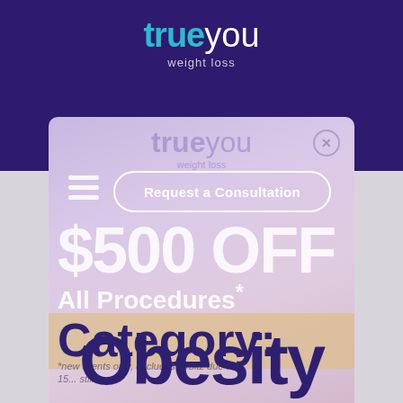[Figure (logo): True You Weight Loss logo - 'true' in teal bold, 'you' in white light weight, 'weight loss' tagline below in gray, on dark purple background]
[Figure (screenshot): Popup modal overlay showing: hamburger menu icon, 'Request a Consultation' button in white rounded border, '$500 OFF' large white text, 'All Procedures*' text, 'Category:' label on tan background, faded logo in background, close X button, footnote text partially obscured]
Category: Obesity
$500 OFF All Procedures*
*new clients only, excludes Orbitz due to 15... still